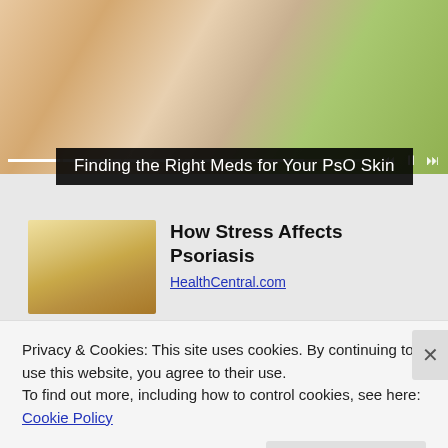[Figure (photo): Close-up photo of hands with psoriasis skin condition, greenish background, with video playback controls (skip back, pause, skip forward) and progress bar segments at the bottom]
Finding the Right Meds for Your PsO Skin
[Figure (photo): Thumbnail image of a blonde woman in a yellow sweater looking downward]
How Stress Affects Psoriasis
HealthCentral.com
Privacy & Cookies: This site uses cookies. By continuing to use this website, you agree to their use.
To find out more, including how to control cookies, see here: Cookie Policy
Close and accept